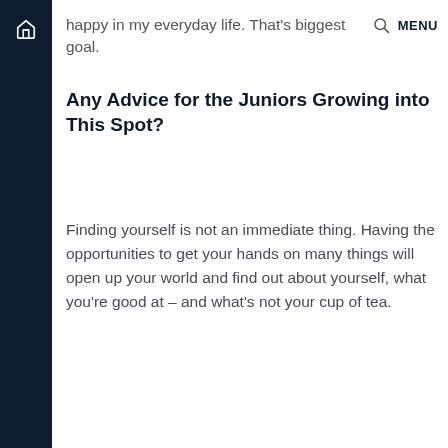happy in my everyday life. That's biggest goal.
Any Advice for the Juniors Growing into This Spot?
Finding yourself is not an immediate thing. Having the opportunities to get your hands on many things will open up your world and find out about yourself, what you're good at – and what's not your cup of tea.